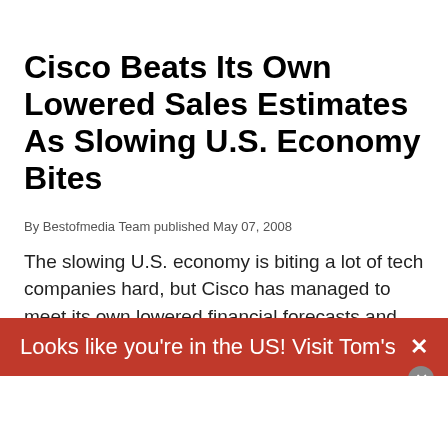Cisco Beats Its Own Lowered Sales Estimates As Slowing U.S. Economy Bites
By Bestofmedia Team published May 07, 2008
The slowing U.S. economy is biting a lot of tech companies hard, but Cisco has managed to meet its own lowered financial forecasts and beat those of the analysts in its latest quarterly results.
1 2 3 4 5 View Archive
Looks like you're in the US! Visit Tom's